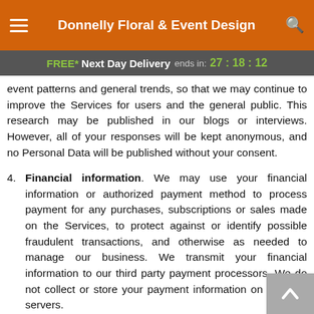Donnelly Floral & Event Design
FREE* Next Day Delivery ends in: 27:18:12
event patterns and general trends, so that we may continue to improve the Services for users and the general public. This research may be published in our blogs or interviews. However, all of your responses will be kept anonymous, and no Personal Data will be published without your consent.
4. Financial information. We may use your financial information or authorized payment method to process payment for any purchases, subscriptions or sales made on the Services, to protect against or identify possible fraudulent transactions, and otherwise as needed to manage our business. We transmit your financial information to our third party payment processors. We do not collect or store your payment information on our own servers.